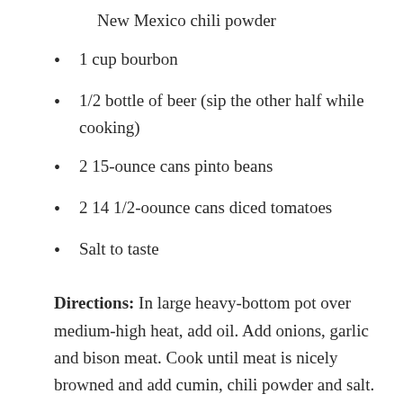New Mexico chili powder
1 cup bourbon
1/2 bottle of beer (sip the other half while cooking)
2 15-ounce cans pinto beans
2 14 1/2-oounce cans diced tomatoes
Salt to taste
Directions: In large heavy-bottom pot over medium-high heat, add oil. Add onions, garlic and bison meat. Cook until meat is nicely browned and add cumin, chili powder and salt. Cover pot and cook about 10 minutes. Stir in bourbon and beer and continue cooking for about 30 minutes. Stir in tomatoes and beans,